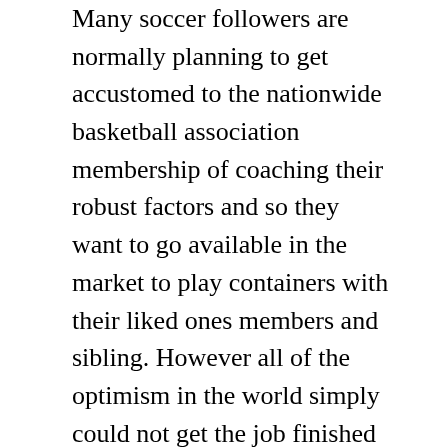Many soccer followers are normally planning to get accustomed to the nationwide basketball association membership of coaching their robust factors and so they want to go available in the market to play containers with their liked ones members and sibling. However all of the optimism in the world simply could not get the job finished to their standards. If we ever see a personal-sized submarine match for human journey, we will thank military researchers and developers around the world. In addition they work properly if they're meant to convey a way of nostalgia, like at Walt Disney World. They are not all the time significantly aggressive when they're meant to complement, or compete with, other types of urban mass transit, like subways or buses.